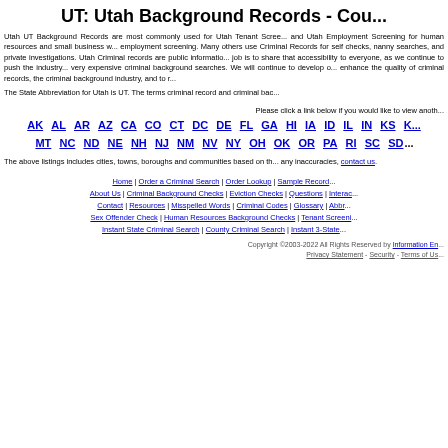UT: Utah Background Records - Cou...
Utah UT Background Records are most commonly used for Utah Tenant Screening and Utah Employment Screening for human resources and small business with employment screening. Many others use Criminal Records for self checks, nanny searches, and private investigations. Utah Criminal records are public information and job is to share that accessibility to everyone, as we continue to push the industry away from very expensive criminal background searches. We will continue to develop on ways to enhance the quality of criminal records, the criminal background industry, and to r...
The State Abbreviation for Utah is UT. The terms criminal record and criminal bac...
Please click a link below if you would like to view anoth...
AK AL AR AZ CA CO CT DC DE FL GA HI IA ID IL IN KS ...
MT NC ND NE NH NJ NM NV NY OH OK OR PA RI SC SD...
The above listings includes cities, towns, boroughs and communities based on the... any inaccuracies, contact us.
Home | Order a Criminal Search | Order Lookup | Sample Record... About Us | Criminal Background Checks | Eviction Checks | Questions | Interac... Contact | Resources | Misspelled Words | Criminal Codes | Glossary | Abbr... Sex Offender Check | Human Resources Background Checks | Tenant Screeni... Instant State Criminal Search | County Criminal Search | Instant 3-State...
Copyright ©2003-2022 All Rights Reserved by Information En...
Privacy Statement - Security - Terms of Us...